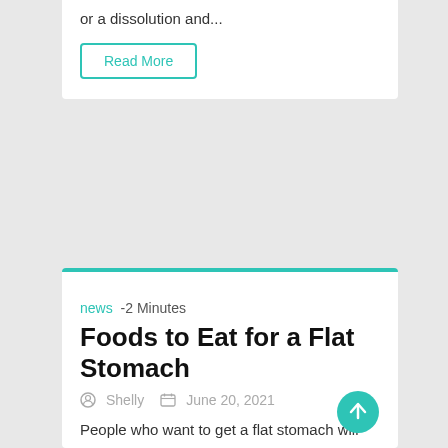or a dissolution and...
Read More
news  -2 Minutes
Foods to Eat for a Flat Stomach
Shelly   June 20, 2021
People who want to get a flat stomach will have to exercise and control their weight. This is also true for people that want to keep their stomachs in good shape. While exercising is...
Read More